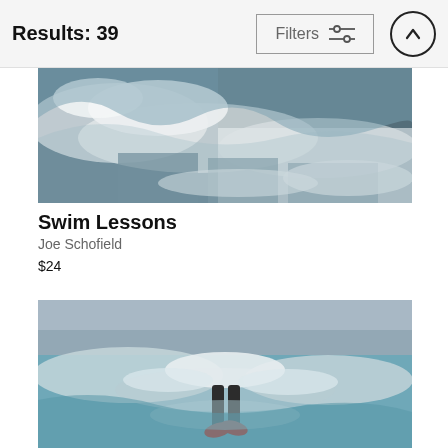Results: 39
[Figure (photo): Aerial view of ocean waves crashing on shore with white foam and dark water]
Swim Lessons
Joe Schofield
$24
[Figure (photo): Person diving into ocean wave, legs and feet visible above water surface, taken from water level]